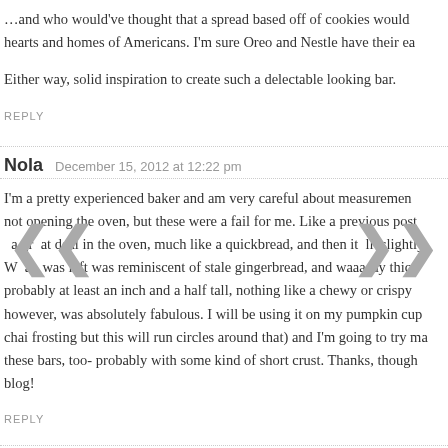…and who would've thought that a spread based off of cookies would hearts and homes of Americans. I'm sure Oreo and Nestle have their ea
Either way, solid inspiration to create such a delectable looking bar.
REPLY
Nola   December 15, 2012 at 12:22 pm
I'm a pretty experienced baker and am very careful about measuremen not opening the oven, but these were a fail for me. Like a previous post a great deal in the oven, much like a quickbread, and then it fell slightly. What was left was reminiscent of stale gingerbread, and waaaay thic probably at least an inch and a half tall, nothing like a chewy or crispy however, was absolutely fabulous. I will be using it on my pumpkin cup chai frosting but this will run circles around that) and I'm going to try ma these bars, too- probably with some kind of short crust. Thanks, though blog!
REPLY
Lillie   December 15, 2012 at 3:49 pm